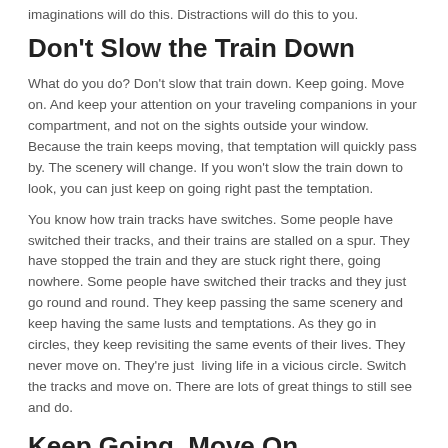imaginations will do this.  Distractions will do this to you.
Don't Slow the Train Down
What do you do?  Don't slow that train down.  Keep going.  Move on.  And keep your attention on your traveling companions in your compartment, and not on the sights outside your window.  Because the train keeps moving, that temptation will quickly pass by.  The scenery will change.  If you won't slow the train down to look, you can just keep on going right past the temptation.
You know how train tracks have switches.  Some people have switched their tracks, and their trains are stalled on a spur.  They have stopped the train and they are stuck right there, going nowhere.  Some people have switched their tracks and they just go round and round.  They keep passing the same scenery and keep having the same lusts and temptations.  As they go in circles, they keep revisiting the same events of their lives.  They never move on.  They're just  living life in a vicious circle.  Switch the tracks and move on.  There are lots of great things to still see and do.
Keep Going. Move On.